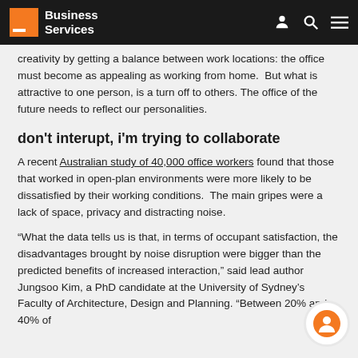Business Services
creativity by getting a balance between work locations: the office must become as appealing as working from home.  But what is attractive to one person, is a turn off to others. The office of the future needs to reflect our personalities.
don't interupt, i'm trying to collaborate
A recent Australian study of 40,000 office workers found that those that worked in open-plan environments were more likely to be dissatisfied by their working conditions.  The main gripes were a lack of space, privacy and distracting noise.
“What the data tells us is that, in terms of occupant satisfaction, the disadvantages brought by noise disruption were bigger than the predicted benefits of increased interaction,” said lead author Jungsoo Kim, a PhD candidate at the University of Sydney’s Faculty of Architecture, Design and Planning. “Between 20% and 40% of